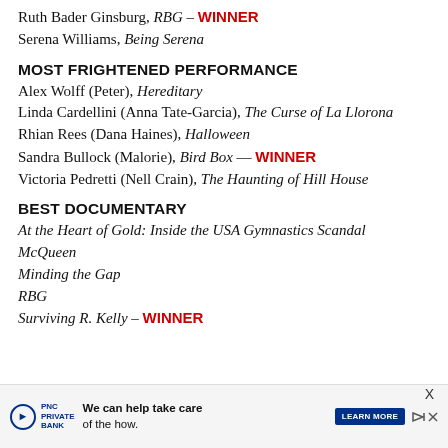Ruth Bader Ginsburg, RBG – WINNER
Serena Williams, Being Serena
MOST FRIGHTENED PERFORMANCE
Alex Wolff (Peter), Hereditary
Linda Cardellini (Anna Tate-Garcia), The Curse of La Llorona
Rhian Rees (Dana Haines), Halloween
Sandra Bullock (Malorie), Bird Box — WINNER
Victoria Pedretti (Nell Crain), The Haunting of Hill House
BEST DOCUMENTARY
At the Heart of Gold: Inside the USA Gymnastics Scandal
McQueen
Minding the Gap
RBG
Surviving R. Kelly – WINNER
[Figure (infographic): PNC Private Bank advertisement banner: 'We can help take care of the how.' with LEARN MORE button]